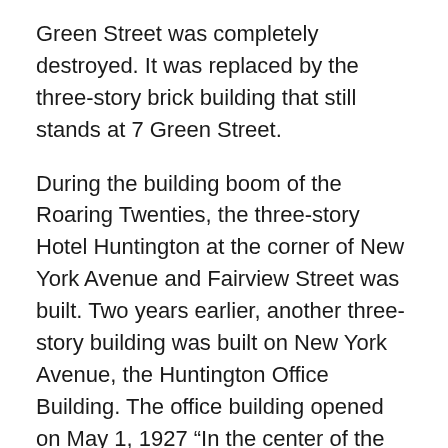Green Street was completely destroyed. It was replaced by the three-story brick building that still stands at 7 Green Street.
During the building boom of the Roaring Twenties, the three-story Hotel Huntington at the corner of New York Avenue and Fairview Street was built. Two years earlier, another three-story building was built on New York Avenue, the Huntington Office Building. The office building opened on May 1, 1927 “In the center of the growing city.” It featured six stores, a bowling alley and billiard parlor on the first floor; offices on the second and third floors; and the first elevator in town.
The building still stands at 375-377 New York Avenue, but without its third floor thanks to a devastating fire in February 1960. The fire was one of three Monday night